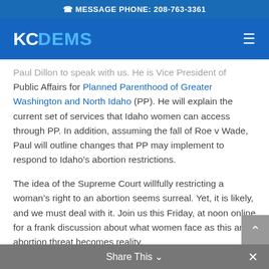MESSAGE PHONE: 208-763-3361
KC DEMS
Paul Dillon to speak with us. He is Vice President of Public Affairs for Planned Parenthood of Greater Washington and North Idaho (PP). He will explain the current set of services that Idaho women can access through PP. In addition, assuming the fall of Roe v Wade, Paul will outline changes that PP may implement to respond to Idaho's abortion restrictions.
The idea of the Supreme Court willfully restricting a woman's right to an abortion seems surreal. Yet, it is likely, and we must deal with it. Join us this Friday, at noon online for a frank discussion about what women face as this anti-abortion threat becomes reality.
THE DISSOLUTION OF ROE V WADE
On March 23, 2022, Idaho Governor Brad Little